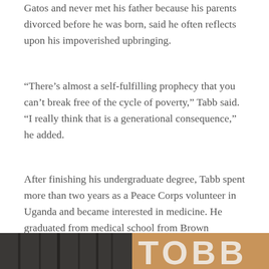Gatos and never met his father because his parents divorced before he was born, said he often reflects upon his impoverished upbringing.
“There’s almost a self-fulfilling prophecy that you can’t break free of the cycle of poverty,” Tabb said. “I really think that is a generational consequence,” he added.
After finishing his undergraduate degree, Tabb spent more than two years as a Peace Corps volunteer in Uganda and became interested in medicine. He graduated from medical school from Brown University with over $160,000 in loans and currently works as the resident pediatrician at the Baylor College of Medicine in Houston.
[Figure (photo): Two photos side by side at the bottom of the page. Left photo shows a dark interior with vertical lines suggesting a doorway. Right photo shows large white letters on an orange/tan background, partially visible, appearing to spell 'TOBB' or similar.]